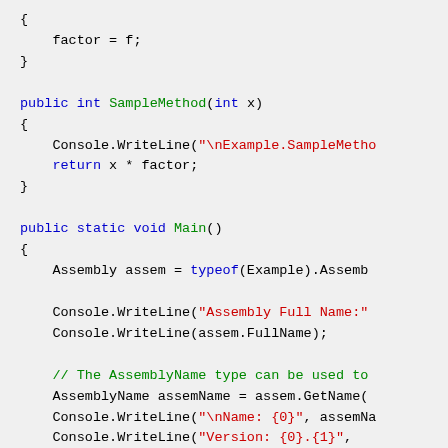[Figure (screenshot): C# source code snippet showing a class with SampleMethod and Main methods, with syntax highlighting. Blue keywords, green method names, red strings, green comments.]